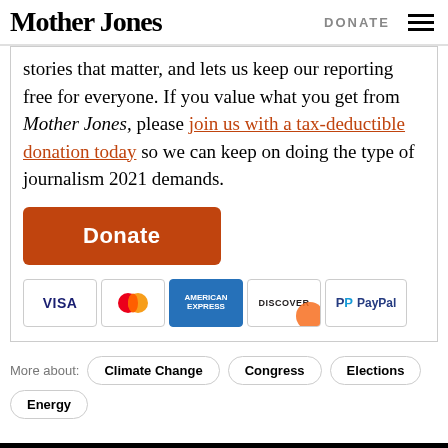Mother Jones | DONATE
stories that matter, and lets us keep our reporting free for everyone. If you value what you get from Mother Jones, please join us with a tax-deductible donation today so we can keep on doing the type of journalism 2021 demands.
[Figure (other): Orange Donate button followed by payment method logos: VISA, MasterCard, American Express, Discover, PayPal]
More about: Climate Change  Congress  Elections
Energy